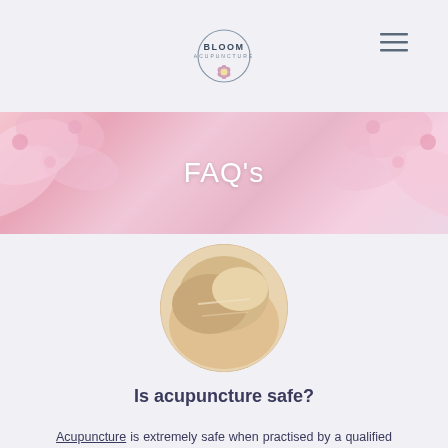BLOOM ACUPUNCTURE
FAQ's
[Figure (photo): Circular cropped photo showing a person's bare shoulder/back area used for acupuncture treatment]
Is acupuncture safe?
Acupuncture is extremely safe when practised by a qualified practitioner. Claire Solomon has completed a four-year full-time Bachelors in Health Science (Acupuncture), having an in-depth knowledge of Chinese Medicine and the meridian system as well as anatomy and physiology from a Western medical perspective.